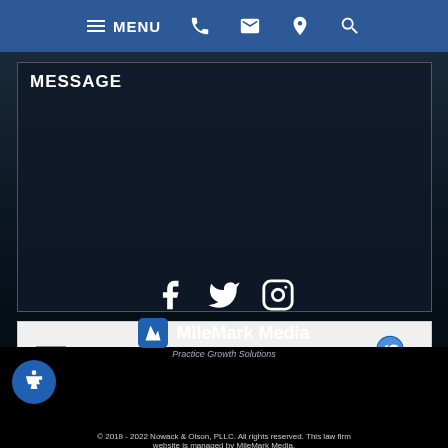MENU
MESSAGE
[Figure (screenshot): reCAPTCHA widget with checkbox labeled 'I'm not a robot' and reCAPTCHA logo with Privacy and Terms links]
SUBMIT FORM
[Figure (infographic): Social media icons: Facebook, Twitter, Instagram in white on black background]
[Figure (logo): MileMark Media - Practice Growth Solutions logo]
© 2018 - 2022 Nowack & Olson, PLLC. All rights reserved. This law firm website is managed by MileMark Media.